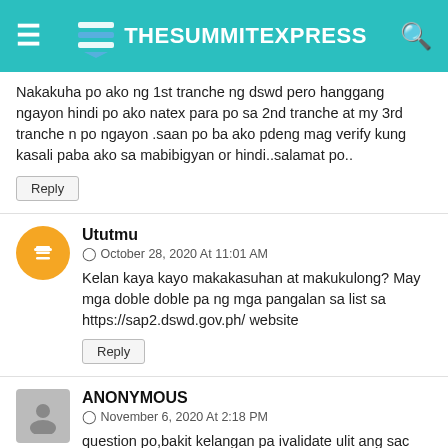TheSummitExpress
Nakakuha po ako ng 1st tranche ng dswd pero hanggang ngayon hindi po ako natex para po sa 2nd tranche at my 3rd tranche n po ngayon .saan po ba ako pdeng mag verify kung kasali paba ako sa mabibigyan or hindi..salamat po..
Reply
Ututmu
October 28, 2020 At 11:01 AM
Kelan kaya kayo makakasuhan at makukulong? May mga doble doble pa ng mga pangalan sa list sa https://sap2.dswd.gov.ph/ website
Reply
ANONYMOUS
November 6, 2020 At 2:18 PM
question po,bakit kelangan pa ivalidate ulit ang sac form ng mga beneficiaries na nakakuha ng 1st tranche ngayong tranche? nagkakagulo po kasi ang mga tao sa brgy hall dahil sa pagpila sa 2nd tranche validation.